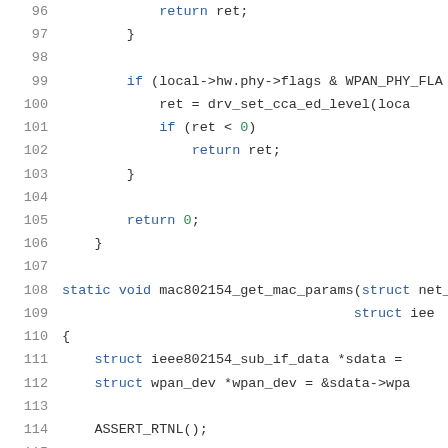Code listing lines 95-116: C source code for mac802154_get_mac_params function and surrounding code
96: return ret;
97: }
98: (blank)
99: if (local->hw.phy->flags & WPAN_PHY_FLA...
100: ret = drv_set_cca_ed_level(loca...
101: if (ret < 0)
102: return ret;
103: }
104: (blank)
105: return 0;
106: }
107: (blank)
108: static void mac802154_get_mac_params(struct net_...
109:                                      struct iee...
110: {
111:     struct ieee802154_sub_if_data *sdata = ...
112:     struct wpan_dev *wpan_dev = &sdata->wpa...
113: (blank)
114:     ASSERT_RTNL();
115: (blank)
116:     /* PHY */